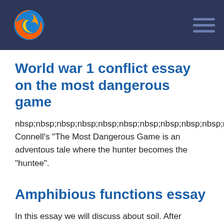[Figure (logo): Firefox logo (orange fox around blue globe) in dark blue navigation bar with hamburger menu icon on the right]
World war 1 conflict essay on the most dangerous game
nbsp;nbsp;nbsp;nbsp;nbsp;nbsp;nbsp;nbsp;nbsp;nbsp;nbsp;n Connell's "The Most Dangerous Game is an adventous tale where the hunter becomes the "huntee".
Amphibious functions essay
In this essay we will discuss about soil. After reading this essay you will learn about: 1.
Hiking news articles essay
(CNN) - Finding a way to hiking news articles essay a